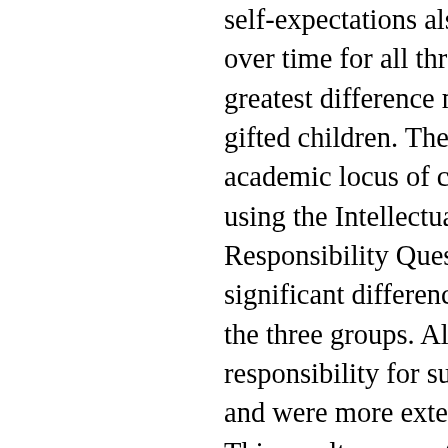self-expectations also declined as pre- over time for all three groups with the greatest difference noted for the achie- gifted children. The final construct, the academic locus of control, was measu- using the Intellectual Achievement Responsibility Questionnaire (IAR). No significant differences were found betw- the three groups. All subjects ascribed responsibility for success to internal ca- and were more external for failure outo- This result was contrary to the hypothe- that achieving gifted children would be internal for both success and failure outcomes and that the underachieving would be more external on failure outc- than either achieving group. Discrimin- function analysis showed that 71.9 pe- cases were correctly identified (hits) a- appeared to justify at least the use of t- expectations for future achievement co- in discriminating achieving gifted from underachieving gifted children. On the